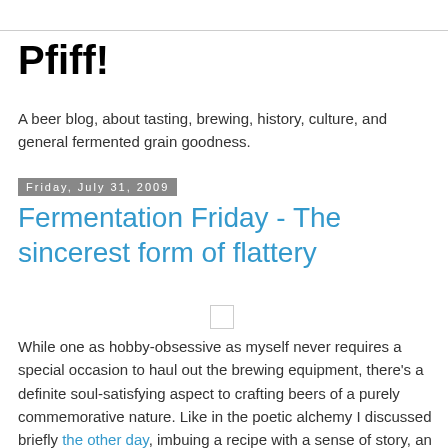Pfiff!
A beer blog, about tasting, brewing, history, culture, and general fermented grain goodness.
Friday, July 31, 2009
Fermentation Friday - The sincerest form of flattery
While one as hobby-obsessive as myself never requires a special occasion to haul out the brewing equipment, there's a definite soul-satisfying aspect to crafting beers of a purely commemorative nature. Like in the poetic alchemy I discussed briefly the other day, imbuing a recipe with a sense of story, an essence of heart, makes for a uniquely satisfying experience. Over the years as we've experimented, there's occurred a natural progression away from deriving brewing procedures from style...